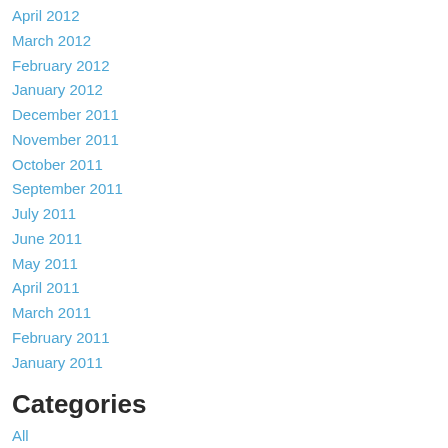April 2012
March 2012
February 2012
January 2012
December 2011
November 2011
October 2011
September 2011
July 2011
June 2011
May 2011
April 2011
March 2011
February 2011
January 2011
Categories
All
Austen
Authors
Autism